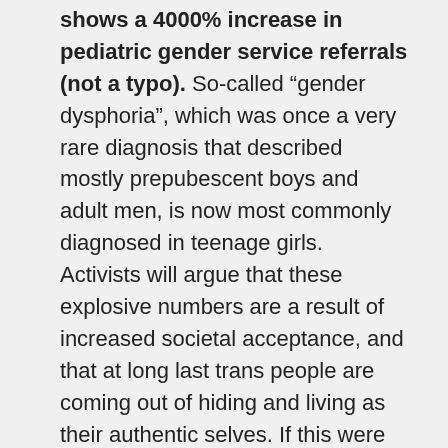shows a 4000% increase in pediatric gender service referrals (not a typo). So-called “gender dysphoria”, which was once a very rare diagnosis that described mostly prepubescent boys and adult men, is now most commonly diagnosed in teenage girls. Activists will argue that these explosive numbers are a result of increased societal acceptance, and that at long last trans people are coming out of hiding and living as their authentic selves. If this were true, one might expect to see comparable rates of transgender identity across all age groups and between both sexes, but its disproportionately adolescent females feeling that warm and fuzzy